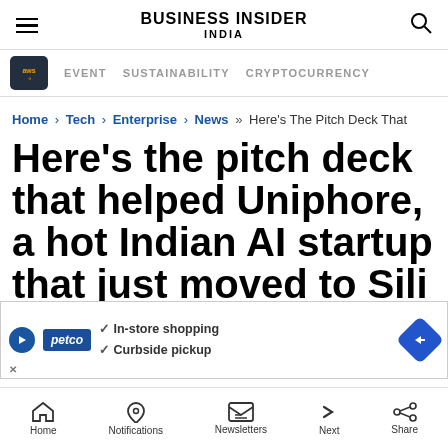BUSINESS INSIDER INDIA
EVENT   SUSTAINABILITY   CRYPTOCURRENCY
Home › Tech › Enterprise › News »» Here's The Pitch Deck That
Here's the pitch deck that helped Uniphore, a hot Indian AI startup that just moved to Sili
[Figure (screenshot): Petco advertisement banner: In-store shopping, Curbside pickup]
Home   Notifications   Newsletters   Next   Share